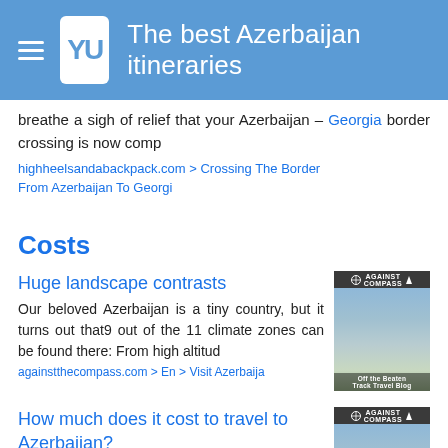The best Azerbaijan itineraries
breathe a sigh of relief that your Azerbaijan – Georgia border crossing is now comp
highheelsandabackpack.com > Crossing The Border From Azerbaijan To Georgi
Costs
Huge landscape contrasts
Our beloved Azerbaijan is a tiny country, but it turns out that9 out of the 11 climate zones can be found there: From high altitud
againstthecompass.com > En > Visit Azerbaija
[Figure (photo): Mountain landscape photo with 'Off the Beaten Track Travel Blog' caption and Against the Compass logo]
How much does it cost to travel to Azerbaijan?
Azerbaijan is really cheap. In fact, leaving the
[Figure (photo): Mountain landscape photo with 'Off the Beaten Track Travel Blog' caption and Against the Compass logo]